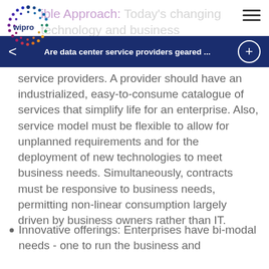[Figure (logo): Wipro logo with colorful dot circle pattern]
ible Approach: Today's changing technology and business environments.
Are data center service providers geared ...
service providers. A provider should have an industrialized, easy-to-consume catalogue of services that simplify life for an enterprise. Also, service model must be flexible to allow for unplanned requirements and for the deployment of new technologies to meet business needs. Simultaneously, contracts must be responsive to business needs, permitting non-linear consumption largely driven by business owners rather than IT.
Innovative offerings: Enterprises have bi-modal needs - one to run the business and